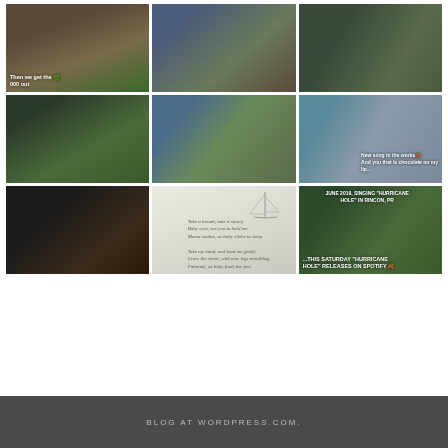[Figure (photo): Grid of 9 photos: outdoor gardening scene with text overlay 'Then we get the 000 out'; group of people sitting outdoors at a gathering; outdoor scene with plants; outdoor scene with greenery and fence; group sitting outdoors near colorful building; close-up of woman with text overlay 'New song in the works And you that is chocolate on my lip...'; hands playing guitar in dark setting; illustrated sailboat with poem text 'Take a breath, take it slowly / Baby eyes, see you to hold me / Mama snakes, as baby slides to sleep / Take my hand, and lead me gently / Cross the street, with new legs trembling, / Patiently, as baby finds her feet'; outdoor music performance with text overlay 'JUNE 2019, SINGING HURRICANE HOLE IN RINCON, PR' and '...THIS SATURDAY HURRICANE HOLE RELEASES ON SPOTIFY']
BLOG AT WORDPRESS.COM.